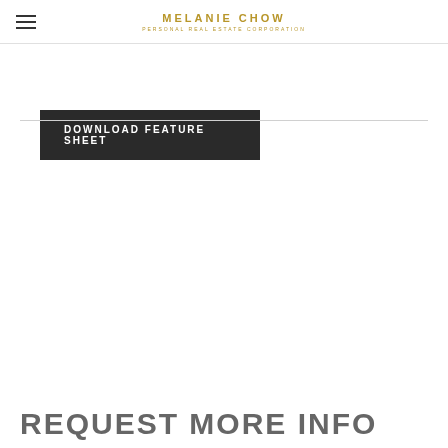MELANIE CHOW | PERSONAL REAL ESTATE CORPORATION
DOWNLOAD FEATURE SHEET
REQUEST MORE INFO